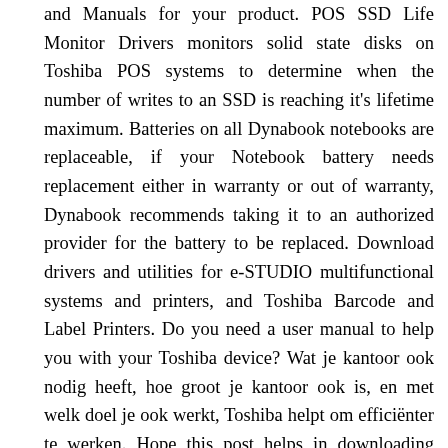and Manuals for your product. POS SSD Life Monitor Drivers monitors solid state disks on Toshiba POS systems to determine when the number of writes to an SSD is reaching it's lifetime maximum. Batteries on all Dynabook notebooks are replaceable, if your Notebook battery needs replacement either in warranty or out of warranty, Dynabook recommends taking it to an authorized provider for the battery to be replaced. Download drivers and utilities for e-STUDIO multifunctional systems and printers, and Toshiba Barcode and Label Printers. Do you need a user manual to help you with your Toshiba device? Wat je kantoor ook nodig heeft, hoe groot je kantoor ook is, en met welk doel je ook werkt, Toshiba helpt om efficiënter te werken. Hope this post helps in downloading drivers for Toshiba printers. All brands and logos are property of their owners. To do so: If this method doesn't work for you, you can try the method below to automatically update your Toshiba printer driver.